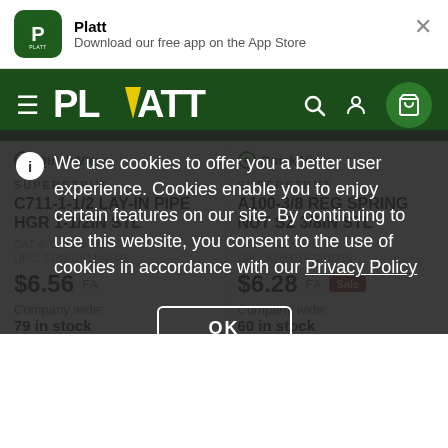Platt — Download our free app on the App Store
[Figure (screenshot): Platt website navigation bar with hamburger menu, PLATT logo, search, account, and cart icons on dark green background]
Quick View
Quick View
SUPERSTRUT
C711-1-1/2 LAY-IN PIPE HGR 1-1/2IN STL
SUPERSTRUT
A100-3/8 REG SPRING NUT SZ 3/8IN STL
CAT #: C711-1-1/2
UPC: 61880151148941
CAT #: A100-3/8
UPC: 61880152270219
$6.56 FA
$6.28 FA
Company wide:
79 in stock
Company wide:
60 in stock
We use cookies to offer you a better user experience. Cookies enable you to enjoy certain features on our site. By continuing to use this website, you consent to the use of cookies in accordance with our Privacy Policy